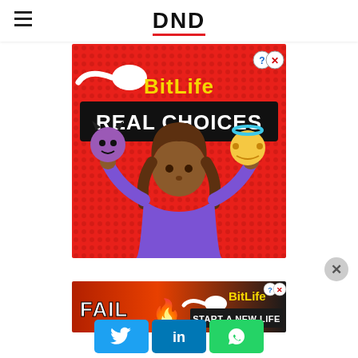DND
[Figure (screenshot): BitLife app advertisement with red background. Shows a woman emoji holding a devil emoji on the left and an angel emoji on the right. Text reads 'BitLife REAL CHOICES'. Small question mark and X close buttons in top-right corner.]
[Figure (screenshot): BitLife app advertisement banner with red/fire background. Shows 'FAIL' text, a distressed blonde emoji, a flame, and sperm emoji. Text reads 'BitLife START A NEW LIFE'.]
[Figure (infographic): Social sharing buttons: Twitter (blue bird icon), LinkedIn (white 'in' on blue), WhatsApp (phone on green).]